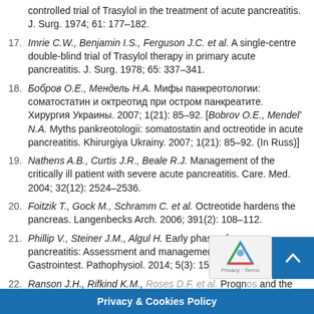16. [author names] controlled trial of Trasylol in the treatment of acute pancreatitis. J. Surg. 1974; 61: 177–182.
17. Imrie C.W., Benjamin I.S., Ferguson J.C. et al. A single-centre double-blind trial of Trasylol therapy in primary acute pancreatitis. J. Surg. 1978; 65: 337–341.
18. Бобров О.Е., Мендель Н.А. Мифы панкреотологии: соматостатин и октреотид при остром панкреатите. Хирургия Украины. 2007; 1(21): 85–92. [Bobrov O.E., Mendel' N.A. Myths pankreotologii: somatostatin and octreotide in acute pancreatitis. Khirurgiya Ukrainy. 2007; 1(21): 85–92. (In Russ)]
19. Nathens A.B., Curtis J.R., Beale R.J. Management of the critically ill patient with severe acute pancreatitis. Care. Med. 2004; 32(12): 2524–2536.
20. Foitzik T., Gock M., Schramm C. et al. Octreotide hardens the pancreas. Langenbecks Arch. 2006; 391(2): 108–112.
21. Phillip V., Steiner J.M., Algul H. Early phase of acute pancreatitis: Assessment and management. World J. Gastrointest. Pathophysiol. 2014; 5(3): 158–168.
22. Ranson J.H., Rifkind K.M., Roses D.F. et al. Prognostic and the role of operative ...